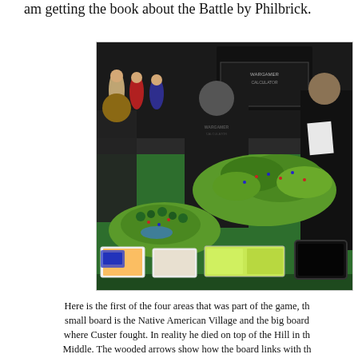am getting the book about the Battle by Philbrick.
[Figure (photo): A wargaming table display showing a detailed terrain board with green hills, miniature figures, and game materials. People in dark hooded sweatshirts stand around the table. A tablet device and printed cards are visible on the table. Soldier figurines and promotional banners for 'Wargamer Calculator' are visible in the background.]
Here is the first of the four areas that was part of the game, th small board is the Native American Village and the big board where Custer fought. In reality he died on top of the Hill in th Middle. The wooded arrows show how the board links with th other boards.